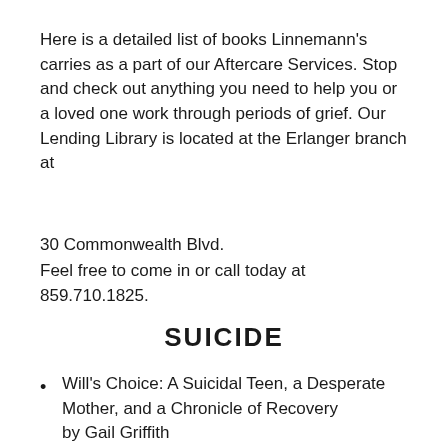Here is a detailed list of books Linnemann's carries as a part of our Aftercare Services. Stop and check out anything you need to help you or a loved one work through periods of grief. Our Lending Library is located at the Erlanger branch at
30 Commonwealth Blvd.
Feel free to come in or call today at 859.710.1825.
SUICIDE
Will's Choice: A Suicidal Teen, a Desperate Mother, and a Chronicle of Recovery by Gail Griffith
Living with Grief after Sudden Loss: Suicide,